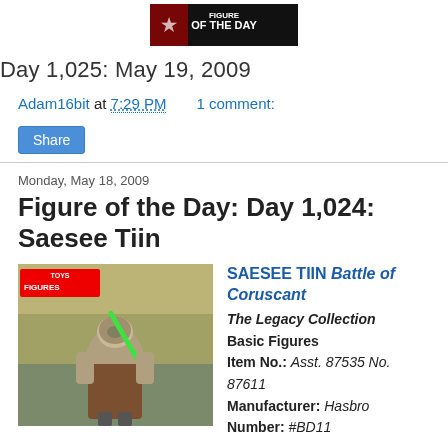[Figure (logo): Figure of the Day banner logo image]
Day 1,025: May 19, 2009
Adam16bit at 7:29 PM   1 comment:
Share
Monday, May 18, 2009
Figure of the Day: Day 1,024: Saesee Tiin
[Figure (photo): Photo of Saesee Tiin Star Wars action figure with green lightsaber in front of Toys R Us store shelves]
SAESEE TIIN Battle of Coruscant
The Legacy Collection
Basic Figures
Item No.: Asst. 87535 No. 87611
Manufacturer: Hasbro
Number: #BD11